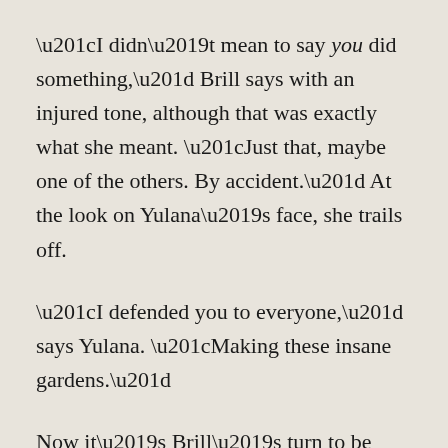“I didn’t mean to say you did something,” Brill says with an injured tone, although that was exactly what she meant. “Just that, maybe one of the others. By accident.” At the look on Yulana’s face, she trails off.
“I defended you to everyone,” says Yulana. “Making these insane gardens.”
Now it’s Brill’s turn to be angry. “Why do you care what I do in my spare time? I have so much of it because I’m efficient.” Her cartographic excellence is well known. It only takes her two swims around a system to know